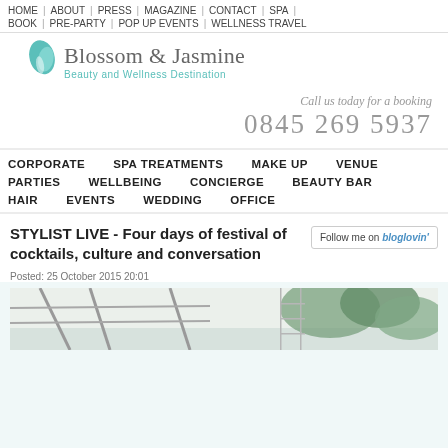HOME | ABOUT | PRESS | MAGAZINE | CONTACT | SPA | BOOK | PRE-PARTY | POP UP EVENTS | WELLNESS TRAVEL
[Figure (logo): Blossom & Jasmine logo with teal leaf/flower icon and text 'Beauty and Wellness Destination']
Call us today for a booking
0845 269 5937
CORPORATE   SPA TREATMENTS   MAKE UP   VENUE   PARTIES   WELLBEING   CONCIERGE   BEAUTY BAR   HAIR   EVENTS   WEDDING   OFFICE
STYLIST LIVE - Four days of festival of cocktails, culture and conversation
Follow me on bloglovin'
Posted: 25 October 2015 20:01
[Figure (photo): Partial photo of an outdoor event/venue structure with metal framework and greenery visible]